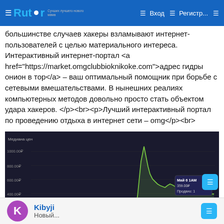Rutor — Вход — Регистр...
большинстве случаев хакеры взламывают интернет-пользователей с целью материального интереса. Интерактивный интернет-портал <a href="https://market.omgclubbioknikoke.com">адрес гидры онион в тор</a> – ваш оптимальный помощник при борьбе с сетевыми вмешательствами. В нынешних реалиях компьютерных методов довольно просто стать объектом удара хакеров. </p><br><p>Лучший интерактивный портал по проведению отдыха в интернет сети – omg</p><br>
[Figure (continuous-plot): Line chart showing Медиана цен over time from Янв 7 to Апр 25, with values ranging from 0 to 1000.00₽. A tooltip shows Май 6 1AM, 359.00₽, Продано: 1. The line is green on a dark background, showing a sharp spike around Апр 11 reaching ~700₽, then settling around 350-400₽.]
Kibyji
Новый...